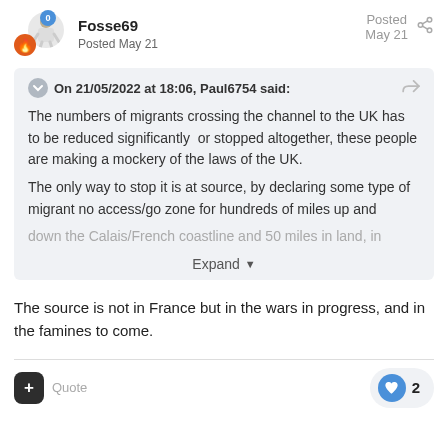Fosse69  Posted May 21  |  Posted May 21
On 21/05/2022 at 18:06, Paul6754 said:
The numbers of migrants crossing the channel to the UK has to be reduced significantly or stopped altogether, these people are making a mockery of the laws of the UK.

The only way to stop it is at source, by declaring some type of migrant no access/go zone for hundreds of miles up and down the Calais/French coastline and 50 miles in land, in

Expand
The source is not in France but in the wars in progress, and in the famines to come.